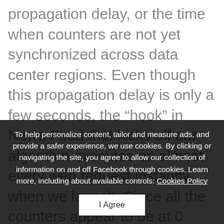propagation delay, or the time when counters are not yet synchronized across data center regions. Even though this propagation delay is only a few seconds, the “hook” in News Feed that kicks off our algorithm executes on almost every web request instantly when we launch. Since all the counters appear to be at 0 during this small window, we could inadvertently over-schedule jobs during the initial propagation delay window. Our solution was sl... w... sc... ab... reasonable levels, and we can confidently begin scheduling a[t] our desired QPS.
To help personalize content, tailor and measure ads, and provide a safer experience, we use cookies. By clicking or navigating the site, you agree to allow our collection of information on and off Facebook through cookies. Learn more, including about available controls: Cookies Policy